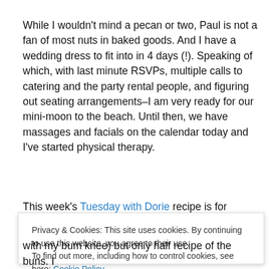While I wouldn't mind a pecan or two, Paul is not a fan of most nuts in baked goods. And I have a wedding dress to fit into in 4 days (!). Speaking of which, with last minute RSVPs, multiple calls to catering and the party rental people, and figuring out seating arrangements–I am very ready for our mini-moon to the beach. Until then, we have massages and facials on the calendar today and I've started physical therapy.
This week's Tuesday with Dorie recipe is for Pecan
Privacy & Cookies: This site uses cookies. By continuing to use this website, you agree to their use. To find out more, including how to control cookies, see here: Cookie Policy
with my bum knee) but only half recipe of the buns. I